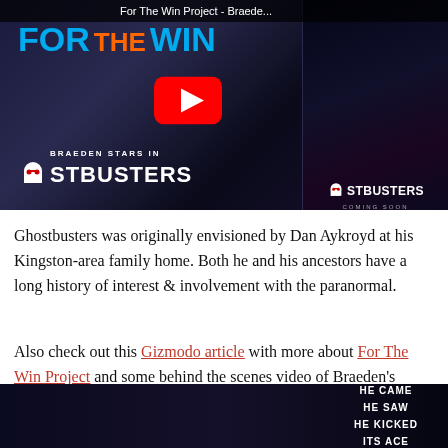[Figure (screenshot): YouTube video thumbnail for 'For The Win Project - Braede...' featuring For The Win branding in blue and orange, a YouTube play button, and a Ghostbusters movie poster. Text reads 'BRAEDEN STARS IN GHOSTBUSTERS'.]
Ghostbusters was originally envisioned by Dan Aykroyd at his Kingston-area family home. Both he and his ancestors have a long history of interest & involvement with the paranormal.
Also check out this Gizmodo article with more about For The Win Project and some behind the scenes video of Braeden's adventure.
[Figure (screenshot): Bottom video thumbnail showing a dark sci-fi/Ghostbusters scene with text overlay reading 'HE CAME HE SAW HE KICKED ITS ACE']